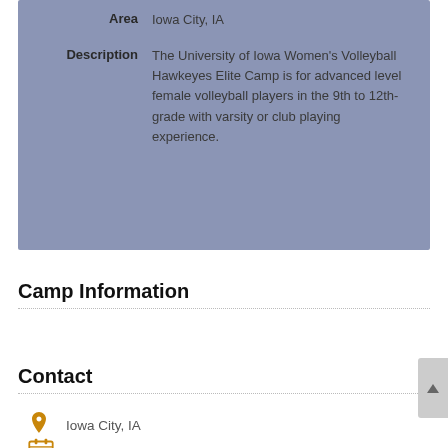| Field | Value |
| --- | --- |
| Area | Iowa City, IA |
| Description | The University of Iowa Women's Volleyball Hawkeyes Elite Camp is for advanced level female volleyball players in the 9th to 12th-grade with varsity or club playing experience. |
Camp Information
Contact
Iowa City, IA